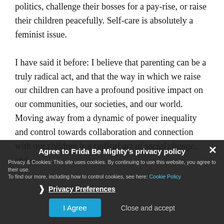politics, challenge their bosses for a pay-rise, or raise their children peacefully. Self-care is absolutely a feminist issue.
I have said it before: I believe that parenting can be a truly radical act, and that the way in which we raise our children can have a profound positive impact on our communities, our societies, and our world. Moving away from a dynamic of power inequality and control towards collaboration and connection with our children is a radical act of social change, and
Agree to Frida Be Mighty's privacy policy
Privacy & Cookies: This site uses cookies. By continuing to use this website, you agree to their use. To find our more, including how to control cookies, see here: Cookie Policy
› Privacy Preferences
I Agree    Close and accept
parenting – when we are not taking care of